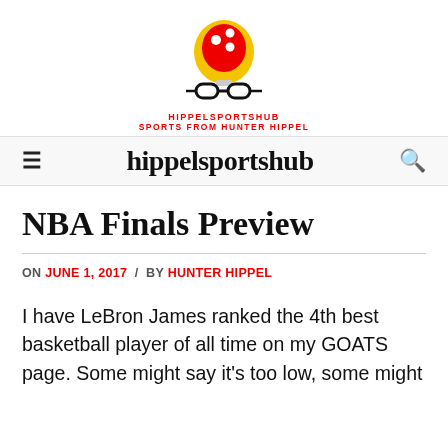[Figure (logo): HippelSportsHub logo: a lightbulb shape with basketball dots above glasses, red text 'HIPPELSPORTSHUB' and 'SPORTS FROM HUNTER HIPPEL']
hippelsportshub
NBA Finals Preview
ON JUNE 1, 2017 / BY HUNTER HIPPEL
I have LeBron James ranked the 4th best basketball player of all time on my GOATS page. Some might say it's too low, some might